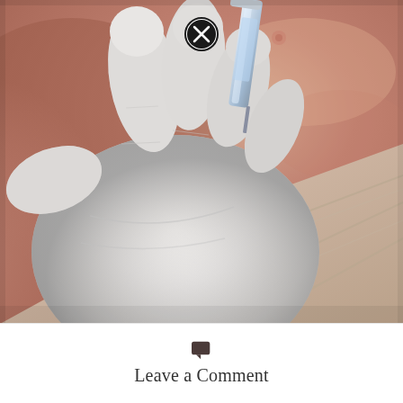[Figure (photo): Close-up photograph of a gloved hand (white latex/nitrile glove) holding a medical syringe or injection device against human skin (arm/shoulder area). A close button (circle with X) is overlaid near the top center. The lower right shows beige fabric (likely a garment or bandage). The image depicts a medical injection procedure.]
Leave a Comment